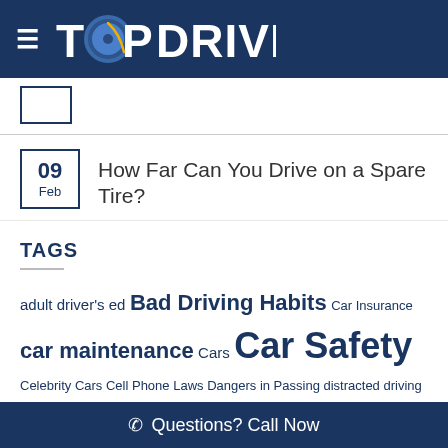TOP DRIVER
[Figure (logo): Top Driver logo with steering wheel icon replacing the O in TOP, white text on dark blue background]
09 Feb — How Far Can You Drive on a Spare Tire?
TAGS
adult driver's ed Bad Driving Habits Car Insurance car maintenance Cars Car Safety Celebrity Cars Cell Phone Laws Dangers in Passing distracted driving Driver Education Driver Safety Driver School
Questions? Call Now